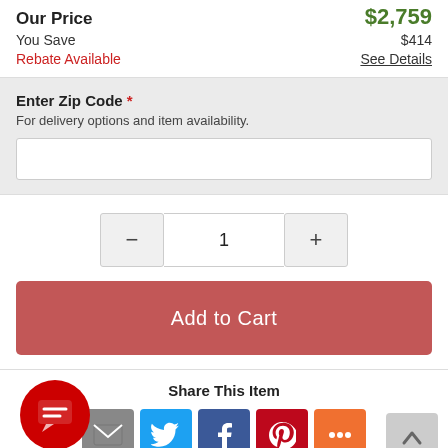Our Price  $2,759
You Save  $414
Rebate Available  See Details
Enter Zip Code *
For delivery options and item availability.
1
Add to Cart
Share This Item